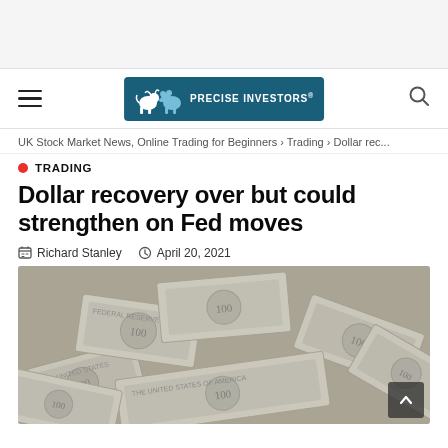[Figure (logo): Precise Investors logo with bull and bear silhouettes on teal background]
UK Stock Market News, Online Trading for Beginners › Trading › Dollar rec...
TRADING
Dollar recovery over but could strengthen on Fed moves
Richard Stanley   April 20, 2021
[Figure (photo): Pile of US $100 dollar bills spread out, filling the frame]